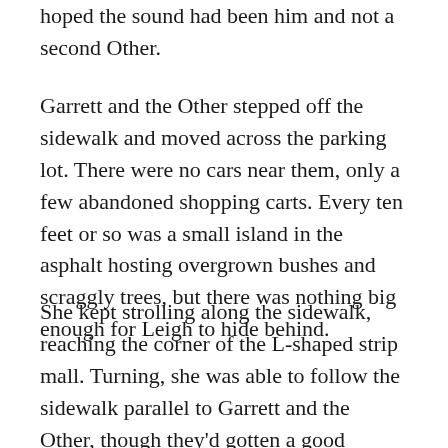hoped the sound had been him and not a second Other.
Garrett and the Other stepped off the sidewalk and moved across the parking lot. There were no cars near them, only a few abandoned shopping carts. Every ten feet or so was a small island in the asphalt hosting overgrown bushes and scraggly trees, but there was nothing big enough for Leigh to hide behind.
She kept strolling along the sidewalk, reaching the corner of the L-shaped strip mall. Turning, she was able to follow the sidewalk parallel to Garrett and the Other, though they'd gotten a good twenty feet ahead of her. She forced herself to keep slow, knowing a sudden burst of speed would catch the Other's attention. Where was he leading Garrett? If Leigh lost sight of them,